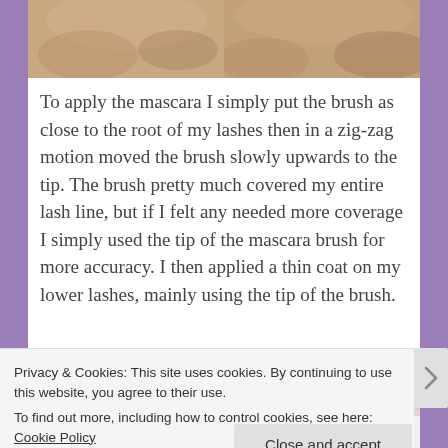[Figure (photo): Two side-by-side close-up photos of a person's face/lashes area, showing before/after mascara application]
To apply the mascara I simply put the brush as close to the root of my lashes then in a zig-zag motion moved the brush slowly upwards to the tip. The brush pretty much covered my entire lash line, but if I felt any needed more coverage I simply used the tip of the mascara brush for more accuracy. I then applied a thin coat on my lower lashes, mainly using the tip of the brush.
[Figure (photo): Close-up photo of a mascara brush/wand showing pink and white bristles]
Privacy & Cookies: This site uses cookies. By continuing to use this website, you agree to their use.
To find out more, including how to control cookies, see here: Cookie Policy
Close and accept
Follow